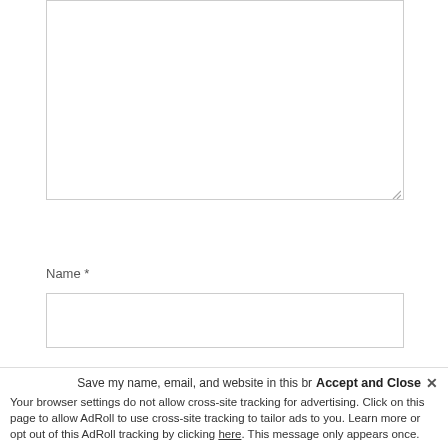[Figure (screenshot): Text area input box (empty), partially visible at top of page]
Name *
[Figure (screenshot): Name input field (empty text box)]
Email *
[Figure (screenshot): Email input field (empty text box)]
Website
[Figure (screenshot): Website input field (empty text box)]
Save my name, email, and website in this br...
Accept and Close ✕
Your browser settings do not allow cross-site tracking for advertising. Click on this page to allow AdRoll to use cross-site tracking to tailor ads to you. Learn more or opt out of this AdRoll tracking by clicking here. This message only appears once.